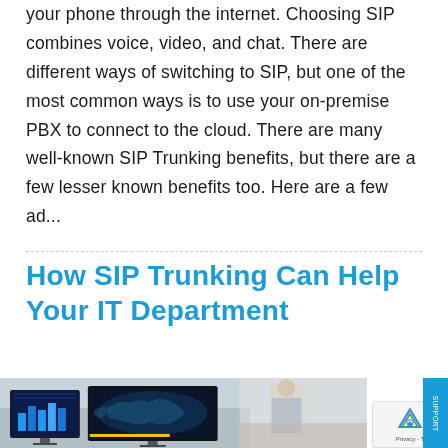your phone through the internet. Choosing SIP combines voice, video, and chat. There are different ways of switching to SIP, but one of the most common ways is to use your on-premise PBX to connect to the cloud. There are many well-known SIP Trunking benefits, but there are a few lesser known benefits too. Here are a few ad...
How SIP Trunking Can Help Your IT Department
[Figure (photo): Office environment showing multiple computer monitors displaying dashboards with charts, maps, and data visualizations. A person is visible in the background.]